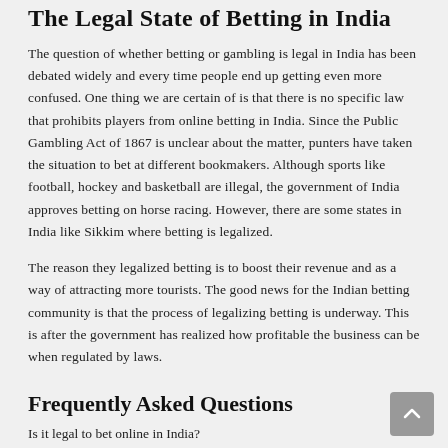The Legal State of Betting in India
The question of whether betting or gambling is legal in India has been debated widely and every time people end up getting even more confused. One thing we are certain of is that there is no specific law that prohibits players from online betting in India. Since the Public Gambling Act of 1867 is unclear about the matter, punters have taken the situation to bet at different bookmakers. Although sports like football, hockey and basketball are illegal, the government of India approves betting on horse racing. However, there are some states in India like Sikkim where betting is legalized.
The reason they legalized betting is to boost their revenue and as a way of attracting more tourists. The good news for the Indian betting community is that the process of legalizing betting is underway. This is after the government has realized how profitable the business can be when regulated by laws.
Frequently Asked Questions
Is it legal to bet online in India?